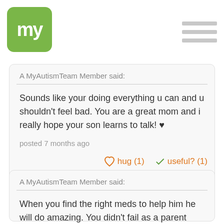my (logo) — hamburger menu
A MyAutismTeam Member said:
Sounds like your doing everything u can and u shouldn't feel bad. You are a great mom and i really hope your son learns to talk! ♥
posted 7 months ago
hug (1)   useful? (1)
A MyAutismTeam Member said:
When you find the right meds to help him he will do amazing. You didn't fail as a parent your awesome. All the best to you.